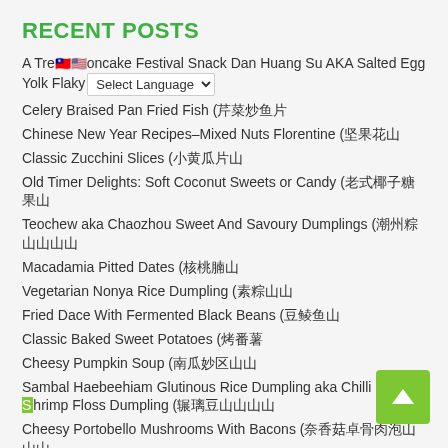RECENT POSTS
A Tre🇹🇼🇺🇸oncake Festival Snack Dan Huang Su AKA Salted Egg Yolk Flaky [Select Language dropdown]
Celery Braised Pan Fried Fish (芹菜炒魚片)
Chinese New Year Recipes–Mixed Nuts Florentine (坡果花山)
Classic Zucchini Slices (小爵瓜片山)
Old Timer Delights: Soft Coconut Sweets or Candy (老式榰子糖果山)
Teochew aka Chaozhou Sweet And Savoury Dumplings (潮州簽山山山山)
Macadamia Pitted Dates (核桃肆山)
Vegetarian Nonya Rice Dumpling (素簽山山)
Fried Dace With Fermented Black Beans (豆鯉鱼山)
Classic Baked Sweet Potatoes (炉烤番薯)
Cheesy Pumpkin Soup (奁瓜妄区山山)
Sambal Haebeehiam Glutinous Rice Dumpling aka Chilli Dried Shrimp Floss Dumpling (輣瘾豆山山山山)
Cheesy Portobello Mushrooms With Bacons (奈香菇卓碉肉泡山山山)
Red Yeast Rice Residue Chicken aka Hong Zao Ji (红箟鸡山山)